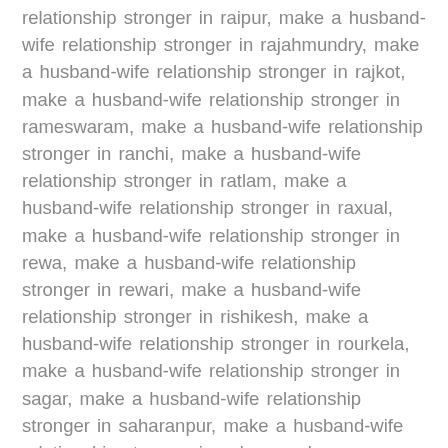relationship stronger in raipur, make a husband-wife relationship stronger in rajahmundry, make a husband-wife relationship stronger in rajkot, make a husband-wife relationship stronger in rameswaram, make a husband-wife relationship stronger in ranchi, make a husband-wife relationship stronger in ratlam, make a husband-wife relationship stronger in raxual, make a husband-wife relationship stronger in rewa, make a husband-wife relationship stronger in rewari, make a husband-wife relationship stronger in rishikesh, make a husband-wife relationship stronger in rourkela, make a husband-wife relationship stronger in sagar, make a husband-wife relationship stronger in saharanpur, make a husband-wife relationship stronger in salem, make a husband-wife relationship stronger in salt lake, make a husband-wife relationship stronger in samastipur, make a husband-wife relationship stronger in sambalpur, make a husband-wife relationship stronger in sambhal, make a husband-wife relationship stronger in sanchi, make a husband-wife relationship stronger in sangareddy, make a husband-wife relationship stronger in